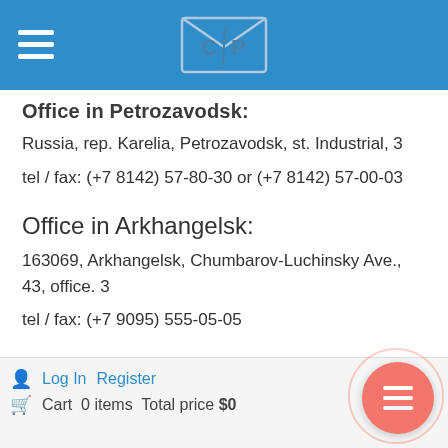CP logo and navigation header bar
Office in Petrozavodsk:
Russia, rep. Karelia, Petrozavodsk, st. Industrial, 3
tel / fax: (+7 8142) 57-80-30 or (+7 8142) 57-00-03
Office in Arkhangelsk:
163069, Arkhangelsk, Chumbarov-Luchinsky Ave., 43, office. 3
tel / fax: (+7 9095) 555-05-05
Office in Novorossiysk:
353907, Novorossiysk, st. Lunacharsky, 21 lit. B, office 21
tel / fax: (+7 904) 610-73-51
Log In   Register   Cart  0 items  Total price $0